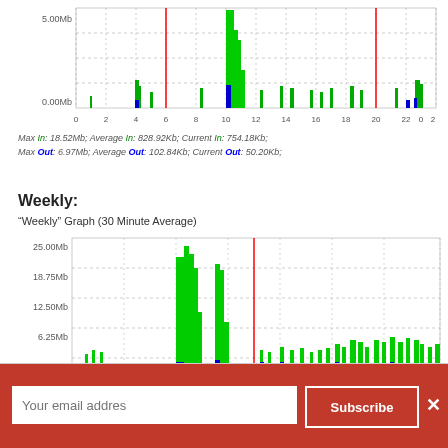[Figure (continuous-plot): Daily network traffic graph showing In (green) and Out (blue) bandwidth over 24-hour period with 5.00Mb scale, x-axis from 0 to 6]
Max In: 18.52Mb; Average In: 828.92Kb; Current In: 754.18Kb;
Max Out: 6.97Mb; Average Out: 102.84Kb; Current Out: 50.20Kb;
Weekly:
"Weekly" Graph (30 Minute Average)
[Figure (continuous-plot): Weekly network traffic graph showing In (green) and Out (blue) bandwidth with 30 minute average, x-axis: Thu, Fri, Sat, Sun, Mon, Tue, Wed, Thu]
Max In: 21.24Mb; Average In: 1.28Mb; Current In: 1.05Mb;
Max Out: 2.94Mb; Average Out: 97.68Kb; Current Out: 47.86Kb;